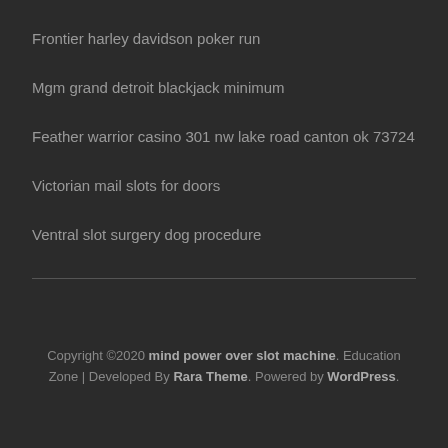Frontier harley davidson poker run
Mgm grand detroit blackjack minimum
Feather warrior casino 301 nw lake road canton ok 73724
Victorian mail slots for doors
Ventral slot surgery dog procedure
Copyright ©2020 mind power over slot machine. Education Zone | Developed By Rara Theme. Powered by WordPress.